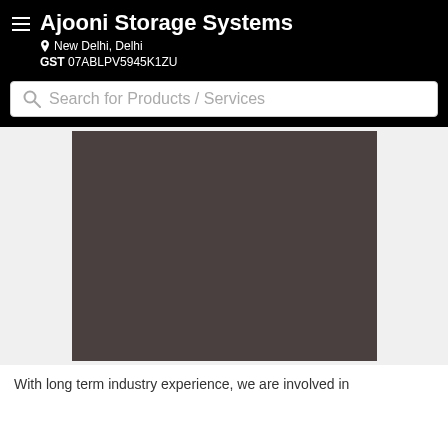Ajooni Storage Systems
New Delhi, Delhi
GST 07ABLPV5945K1ZU
Search for Products / Services
[Figure (photo): A dark brownish-grey rectangular product image placeholder for Ajooni Storage Systems]
With long term industry experience, we are involved in